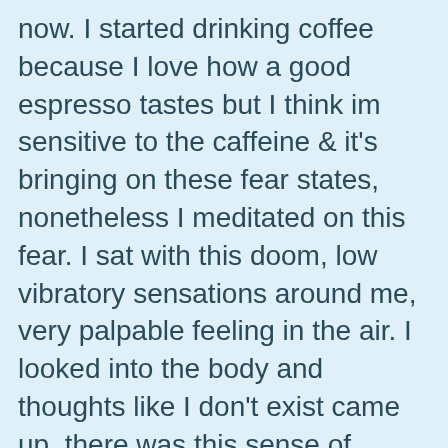now. I started drinking coffee because I love how a good espresso tastes but I think im sensitive to the caffeine & it's bringing on these fear states, nonetheless I meditated on this fear. I sat with this doom, low vibratory sensations around me, very palpable feeling in the air. I looked into the body and thoughts like I don't exist came up, there was this sense of vaccuity, like i wasn't anywhere except the fear was still there. I said if I'm empty then this fear is empty too, I can't be this fear. Vibration changed to a lighter, freer flowing sensation. I sat like that for a little, like being pure spirit. Whenever anything came into my head I just noted empty, empty, empty. I opened my eyes and looked at my body and it all looked very strange, like what the hell is this thing?! Incredible sit, I